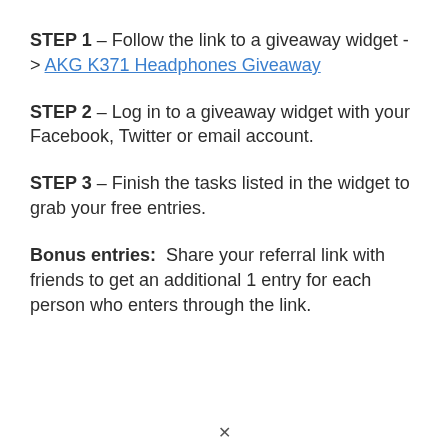STEP 1 – Follow the link to a giveaway widget -> AKG K371 Headphones Giveaway
STEP 2 – Log in to a giveaway widget with your Facebook, Twitter or email account.
STEP 3 – Finish the tasks listed in the widget to grab your free entries.
Bonus entries:  Share your referral link with friends to get an additional 1 entry for each person who enters through the link.